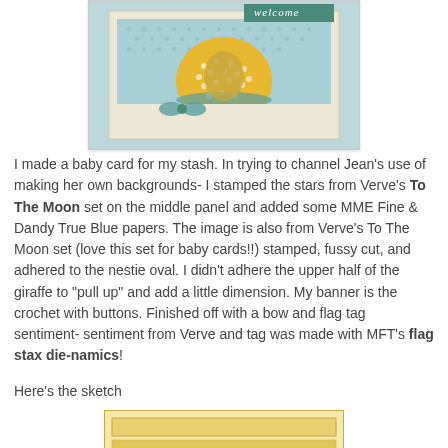[Figure (photo): Photo of a handmade baby card with teal/mint patterned background, yellow circle with polka dot pattern, giraffe image, and a 'welcome' banner in green ribbon.]
I made a baby card for my stash. In trying to channel Jean's use of making her own backgrounds- I stamped the stars from Verve's To The Moon set on the middle panel and added some MME Fine & Dandy True Blue papers. The image is also from Verve's To The Moon set (love this set for baby cards!!) stamped, fussy cut, and adhered to the nestie oval. I didn't adhere the upper half of the giraffe to "pull up" and add a little dimension. My banner is the crochet with buttons. Finished off with a bow and flag tag sentiment- sentiment from Verve and tag was made with MFT's flag stax die-namics!
Here's the sketch
[Figure (illustration): Partial view of a card sketch/template showing a cream/tan card base with rectangular panels.]